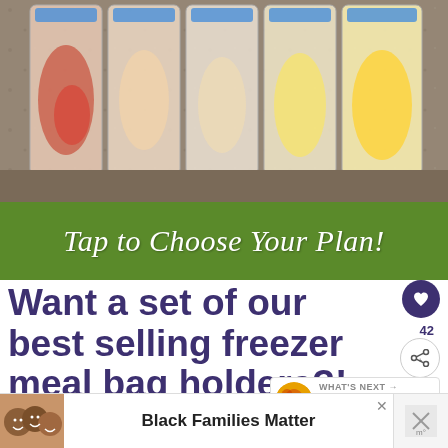[Figure (photo): Multiple clear freezer bags filled with various foods (red/marinated meats, white chicken, yellow ingredients) standing upright on a granite countertop, supported by blue bag holders]
Tap to Choose Your Plan!
Want a set of our best selling freezer meal bag holders?! You can now order them right
[Figure (infographic): Heart icon (42 likes) and share icon on right side]
[Figure (infographic): WHAT'S NEXT arrow, Pineapple BBQ Pork... thumbnail]
[Figure (photo): Ad banner: photo of smiling family with text Black Families Matter]